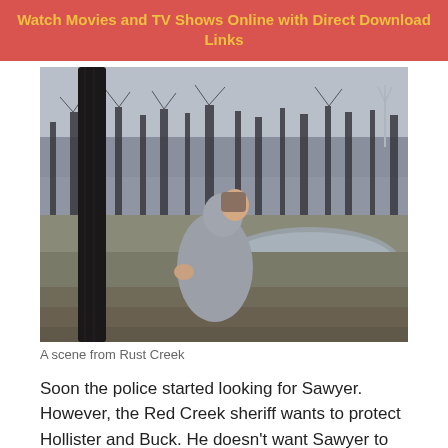Watch Movies and TV Shows Online with Direct Download Links
[Figure (photo): A scene from Rust Creek: a young woman in a grey hoodie leans against a dark tree trunk in a bleak winter woodland landscape with a creek or pond in the background.]
A scene from Rust Creek
Soon the police started looking for Sawyer. However, the Red Creek sheriff wants to protect Hollister and Buck. He doesn't want Sawyer to leave the place and start complaining to them. Meanwhile, both men find her out